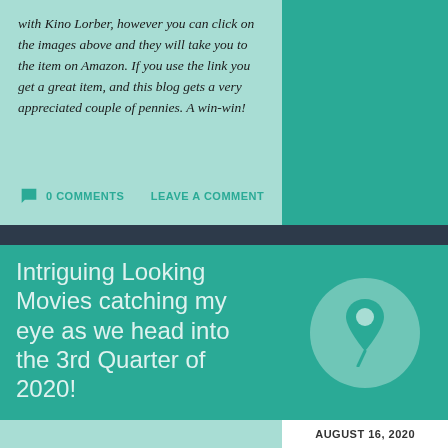with Kino Lorber, however you can click on the images above and they will take you to the item on Amazon. If you use the link you get a great item, and this blog gets a very appreciated couple of pennies. A win-win!
0 COMMENTS    LEAVE A COMMENT
Intriguing Looking Movies catching my eye as we head into the 3rd Quarter of 2020!
[Figure (illustration): Pin/thumbtack icon inside a light teal circle on a teal background]
AUGUST 16, 2020